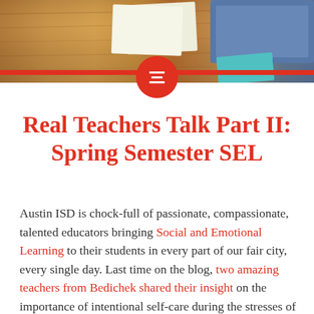[Figure (photo): Photo of a wooden desk surface with papers and a tablet/laptop device, warm brown tones]
Real Teachers Talk Part II: Spring Semester SEL
Austin ISD is chock-full of passionate, compassionate, talented educators bringing Social and Emotional Learning to their students in every part of our fair city, every single day. Last time on the blog, two amazing teachers from Bedichek shared their insight on the importance of intentional self-care during the stresses of the spring semester. Today, seven more outstanding teachers lend their thoughts and practices from around the district